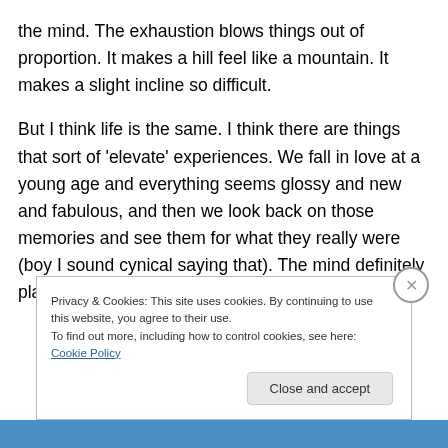the mind. The exhaustion blows things out of proportion. It makes a hill feel like a mountain. It makes a slight incline so difficult.
But I think life is the same. I think there are things that sort of 'elevate' experiences. We fall in love at a young age and everything seems glossy and new and fabulous, and then we look back on those memories and see them for what they really were (boy I sound cynical saying that). The mind definitely plays tricks on us.
Privacy & Cookies: This site uses cookies. By continuing to use this website, you agree to their use.
To find out more, including how to control cookies, see here: Cookie Policy